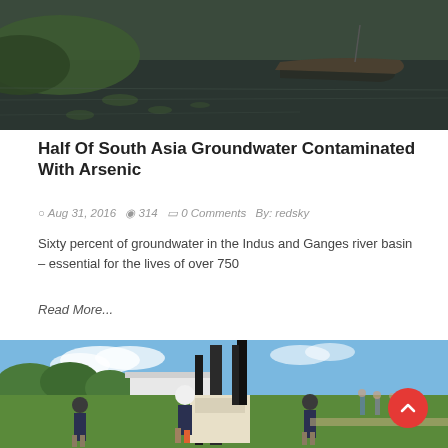[Figure (photo): Photograph showing a boat on dark water with green foliage and lily pads, water scene in South Asia]
Half Of South Asia Groundwater Contaminated With Arsenic
Aug 31, 2016  314  0 Comments  By: redsky
Sixty percent of groundwater in the Indus and Ganges river basin – essential for the lives of over 750
Read More...
[Figure (photo): Photograph of workers operating drilling equipment outdoors on a sunny day, people in background near a white building]